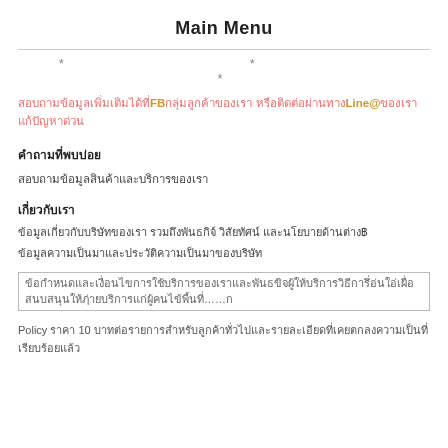Main Menu
* * *
สอบถามข้อมูลเพิ่มเติมได้ที่ FB กลุ่มลูกค้าของเรา หรือติดต่อผ่านทาง Line@ ของเรา
คำถามที่พบบ่อย
สอบถามข้อมูลสินค้าและบริการของเรา
เกี่ยวกับเรา
ข้อมูลเกี่ยวกับบริษัทของเรา รวมถึงพันธกิจ วิสัยทัศน์ และนโยบายด้านต่างๆ
ข้อมูลความเป็นมาและประวัติความเป็นมาของบริษัท
ข้อกำหนดและเงื่อนไขการใช้บริการของเรา……ก
Policy ราคา 10 บาทต่อรายการสำหรับลูกค้าทั่วไป